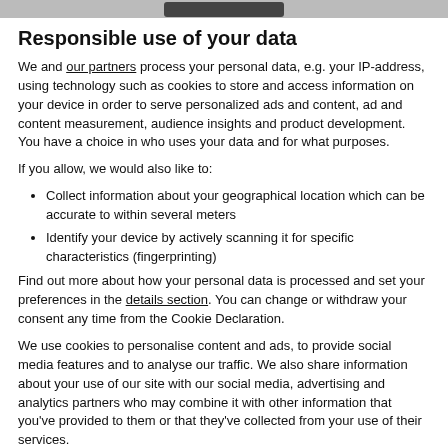[product image banner]
Responsible use of your data
We and our partners process your personal data, e.g. your IP-address, using technology such as cookies to store and access information on your device in order to serve personalized ads and content, ad and content measurement, audience insights and product development. You have a choice in who uses your data and for what purposes.
If you allow, we would also like to:
Collect information about your geographical location which can be accurate to within several meters
Identify your device by actively scanning it for specific characteristics (fingerprinting)
Find out more about how your personal data is processed and set your preferences in the details section. You can change or withdraw your consent any time from the Cookie Declaration.
We use cookies to personalise content and ads, to provide social media features and to analyse our traffic. We also share information about your use of our site with our social media, advertising and analytics partners who may combine it with other information that you've provided to them or that they've collected from your use of their services.
Deny | Allow all | Show details